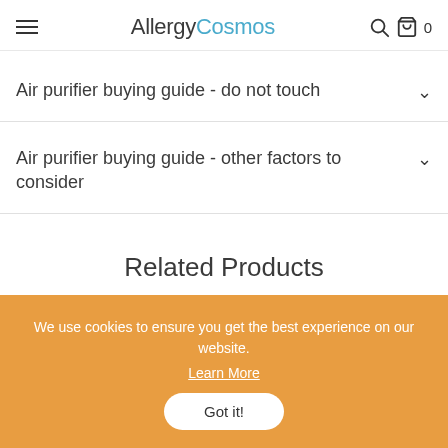AllergyCosmos
Air purifier buying guide - do not touch
Air purifier buying guide - other factors to consider
Related Products
We use cookies to ensure you get the best experience on our website. Learn More Got it!